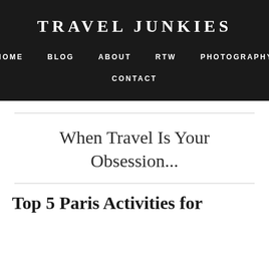TRAVEL JUNKIES
HOME   BLOG   ABOUT   RTW   PHOTOGRAPHY   CONTACT
When Travel Is Your Obsession...
Top 5 Paris Activities for